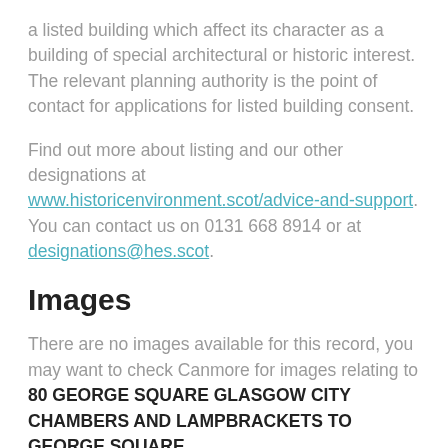a listed building which affect its character as a building of special architectural or historic interest. The relevant planning authority is the point of contact for applications for listed building consent.
Find out more about listing and our other designations at www.historicenvironment.scot/advice-and-support. You can contact us on 0131 668 8914 or at designations@hes.scot.
Images
There are no images available for this record, you may want to check Canmore for images relating to 80 GEORGE SQUARE GLASGOW CITY CHAMBERS AND LAMPBRACKETS TO GEORGE SQUARE